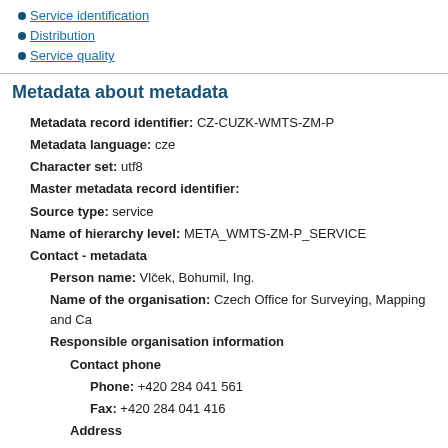Service identification
Distribution
Service quality
Metadata about metadata
Metadata record identifier: CZ-CUZK-WMTS-ZM-P
Metadata language: cze
Character set: utf8
Master metadata record identifier:
Source type: service
Name of hierarchy level: META_WMTS-ZM-P_SERVICE
Contact - metadata
Person name: Vlček, Bohumil, Ing.
Name of the organisation: Czech Office for Surveying, Mapping and Ca
Responsible organisation information
Contact phone
Phone: +420 284 041 561
Fax: +420 284 041 416
Address
Delivery place: Pod sidlištěm 1800/9
City: Praha 8
ZIP code: 182 11
Country: Czech Republic